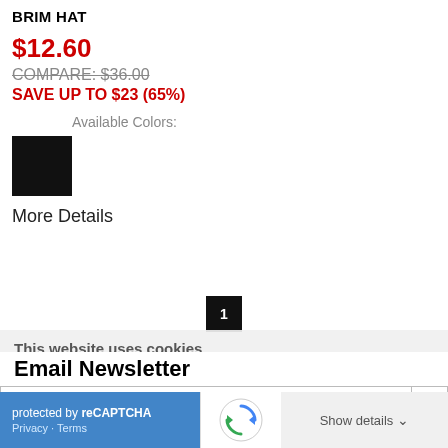BRIM HAT
$12.60
COMPARE: $36.00
SAVE UP TO $23 (65%)
Available Colors:
[Figure (other): Black color swatch square]
More Details
1
This website uses cookies
We use cookies to personalise content and ads, to provide social media features and to analyse our traffic. We also share information about your use of our site with our social media, advertising and analytics partners who may combine it with other information that you've provided to them or that they've collected from your use of their services.
Email Newsletter
address@email.com
protected by reCAPTCHA
Privacy · Terms
Show details